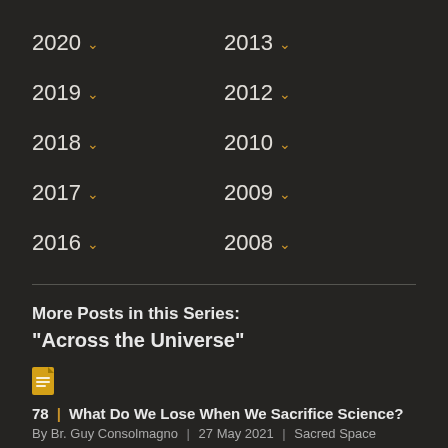2020 ˅
2013 ˅
2019 ˅
2012 ˅
2018 ˅
2010 ˅
2017 ˅
2009 ˅
2016 ˅
2008 ˅
More Posts in this Series:
"Across the Universe"
78 | What Do We Lose When We Sacrifice Science?
By Br. Guy Consolmagno | 27 May 2021 | Sacred Space